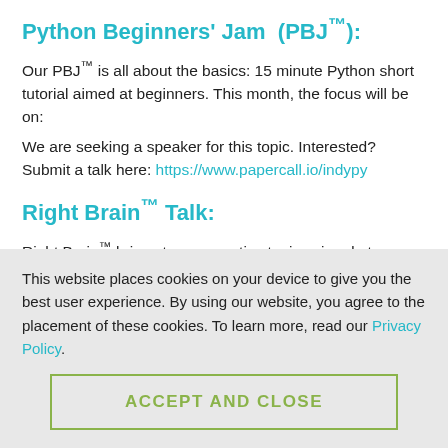Python Beginners' Jam (PBJ™):
Our PBJ™ is all about the basics: 15 minute Python short tutorial aimed at beginners. This month, the focus will be on:
We are seeking a speaker for this topic. Interested? Submit a talk here: https://www.papercall.io/indypy
Right Brain™ Talk:
Right Brain™ brings to you creative topics aimed at developing well-rounded Pythonistas. This month:
This website places cookies on your device to give you the best user experience. By using our website, you agree to the placement of these cookies. To learn more, read our Privacy Policy.
ACCEPT AND CLOSE